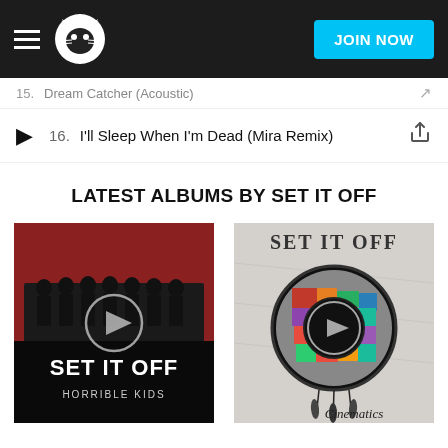Napster navigation bar with hamburger menu, Napster logo, and JOIN NOW button
15. Dream Catcher (Acoustic)
16. I'll Sleep When I'm Dead (Mira Remix)
LATEST ALBUMS BY SET IT OFF
[Figure (photo): Album cover for 'Horrible Kids' by Set It Off - red background with illustrated silhouettes of people and band name text]
[Figure (photo): Album cover for 'Cinematics' by Set It Off - grey/white background with dreamcatcher circle containing collaged images and feathers hanging below]